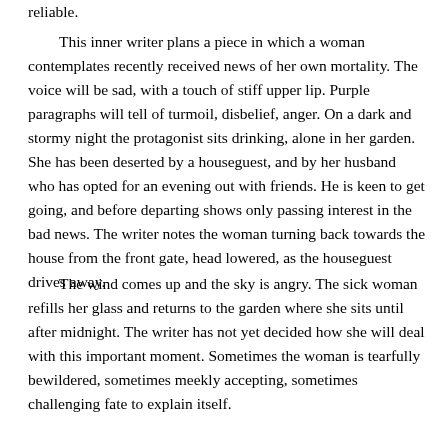reliable.
This inner writer plans a piece in which a woman contemplates recently received news of her own mortality. The voice will be sad, with a touch of stiff upper lip. Purple paragraphs will tell of turmoil, disbelief, anger. On a dark and stormy night the protagonist sits drinking, alone in her garden. She has been deserted by a houseguest, and by her husband who has opted for an evening out with friends. He is keen to get going, and before departing shows only passing interest in the bad news. The writer notes the woman turning back towards the house from the front gate, head lowered, as the houseguest drives away.
The wind comes up and the sky is angry. The sick woman refills her glass and returns to the garden where she sits until after midnight. The writer has not yet decided how she will deal with this important moment. Sometimes the woman is tearfully bewildered, sometimes meekly accepting, sometimes challenging fate to explain itself.